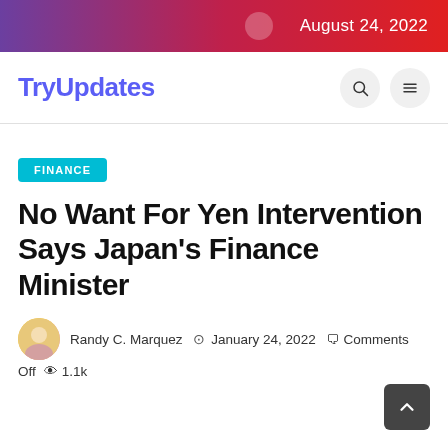August 24, 2022
TryUpdates
FINANCE
No Want For Yen Intervention Says Japan's Finance Minister
Randy C. Marquez  January 24, 2022  Comments Off  1.1k